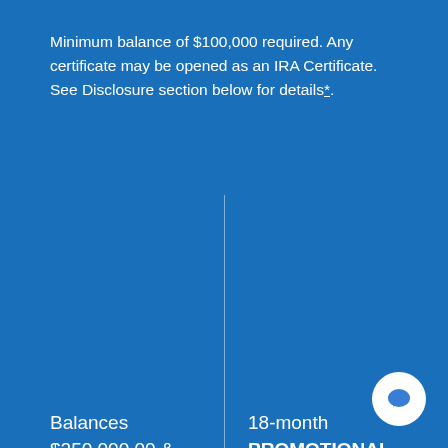Minimum balance of $100,000 required. Any certificate may be opened as an IRA Certificate. See Disclosure section below for details*.
|  | 18-month PROMOTIONAL - Double Play |
| --- | --- |
| Balances $250,000.00 & greater Terms | 18-month PROMOTIONAL - Double Play |
| DIVIDEND RATE | 1.982% |
| ANNUAL PERCENTAGE | 2.00% |